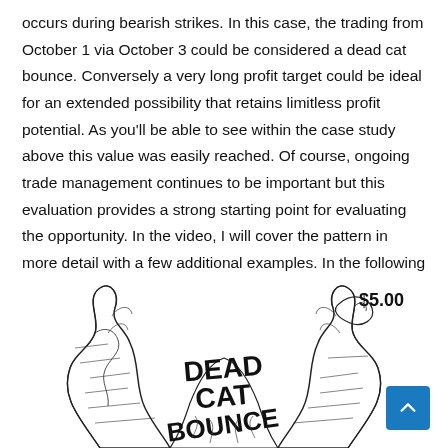occurs during bearish strikes. In this case, the trading from October 1 via October 3 could be considered a dead cat bounce. Conversely a very long profit target could be ideal for an extended possibility that retains limitless profit potential. As you'll be able to see within the case study above this value was easily reached. Of course, ongoing trade management continues to be important but this evaluation provides a strong starting point for evaluating the opportunity. In the video, I will cover the pattern in more detail with a few additional examples. In the following article in this series I will show you how one can project price targets once the pattern has completed itself.
[Figure (illustration): Black and white illustration of a dead cat bounce comic book style image showing stylized text 'DEAD CAT BOUNCE' with a price tag reading $5.00]